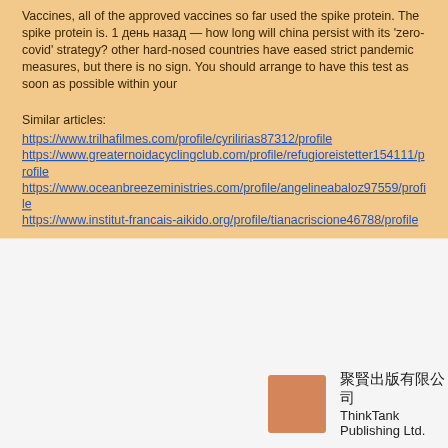Vaccines, all of the approved vaccines so far used the spike protein. The spike protein is. 1 день назад — how long will china persist with its 'zero-covid' strategy? other hard-nosed countries have eased strict pandemic measures, but there is no sign. You should arrange to have this test as soon as possible within your
Similar articles:
https://www.trilhafilmes.com/profile/cyrilirias87312/profile
https://www.greaternoidacyclingclub.com/profile/refugioreistetter154111/profile
https://www.oceanbreezeministries.com/profile/angelineabaloz97559/profile
https://www.institut-francais-aikido.org/profile/tianacriscione46788/profile
[Figure (logo): Logo thumbnail with orange/skin-tone color block]
聚賢出版有限公司
ThinkTank Publishing Ltd.